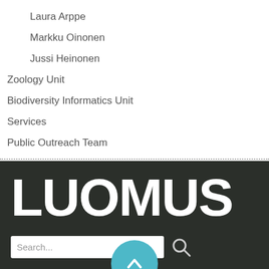Laura Arppe
Markku Oinonen
Jussi Heinonen
Zoology Unit
Biodiversity Informatics Unit
Services
Public Outreach Team
[Figure (logo): LUOMUS logo in large white bold text on dark background, with a search bar below]